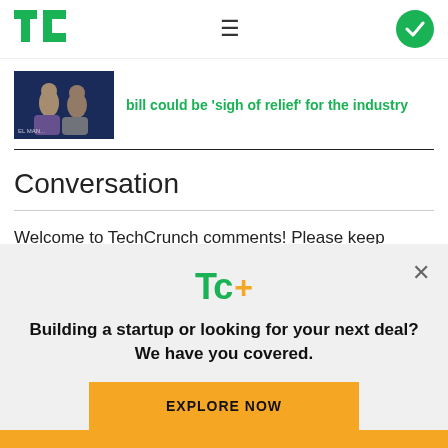TechCrunch
[Figure (photo): Two people seated on stage at a conference event]
bill could be 'sigh of relief' for the industry
Conversation
Welcome to TechCrunch comments! Please keep conversations courteous and on-topic. See our
[Figure (logo): TC+ logo overlay with promotional banner: Building a startup or looking for your next deal? We have you covered. EXPLORE NOW button.]